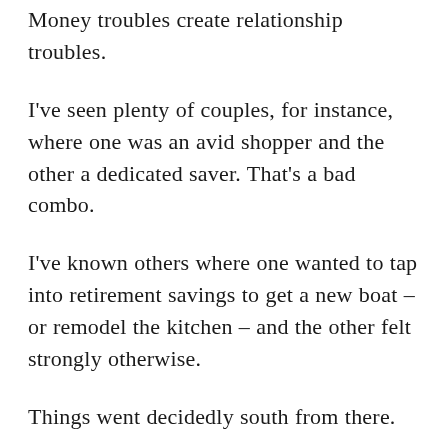Money troubles create relationship troubles.
I've seen plenty of couples, for instance, where one was an avid shopper and the other a dedicated saver. That's a bad combo.
I've known others where one wanted to tap into retirement savings to get a new boat – or remodel the kitchen – and the other felt strongly otherwise.
Things went decidedly south from there.
Financial compatibility – or at least peacemaking compromise – seems to be a prerequisite for connubial bliss.
Arguing and worrying about money is toxic. It